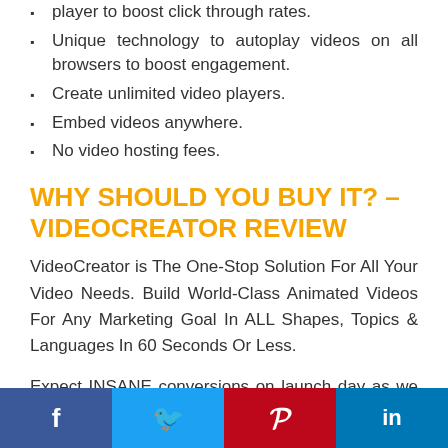player to boost click through rates.
Unique technology to autoplay videos on all browsers to boost engagement.
Create unlimited video players.
Embed videos anywhere.
No video hosting fees.
WHY SHOULD YOU BUY IT? – VIDEOCREATOR REVIEW
VideoCreator is The One-Stop Solution For All Your Video Needs. Build World-Class Animated Videos For Any Marketing Goal In ALL Shapes, Topics & Languages In 60 Seconds Or Less.
Expect INSANE conversions on launch day as we are stacking the value with never-seen-before features.